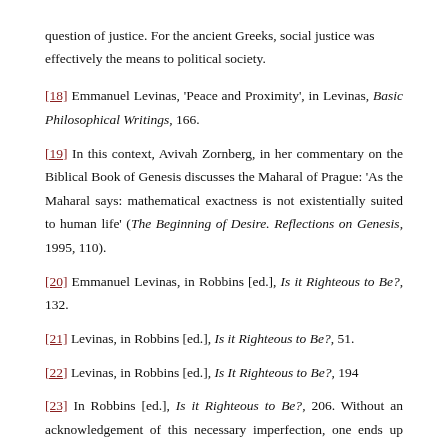question of justice. For the ancient Greeks, social justice was effectively the means to political society.
[18] Emmanuel Levinas, 'Peace and Proximity', in Levinas, Basic Philosophical Writings, 166.
[19] In this context, Avivah Zornberg, in her commentary on the Biblical Book of Genesis discusses the Maharal of Prague: 'As the Maharal says: mathematical exactness is not existentially suited to human life' (The Beginning of Desire. Reflections on Genesis, 1995, 110).
[20] Emmanuel Levinas, in Robbins [ed.], Is it Righteous to Be?, 132.
[21] Levinas, in Robbins [ed.], Is it Righteous to Be?, 51.
[22] Levinas, in Robbins [ed.], Is It Righteous to Be?, 194
[23] In Robbins [ed.], Is it Righteous to Be?, 206. Without an acknowledgement of this necessary imperfection, one ends up with political theologies and utopias that always do violence to